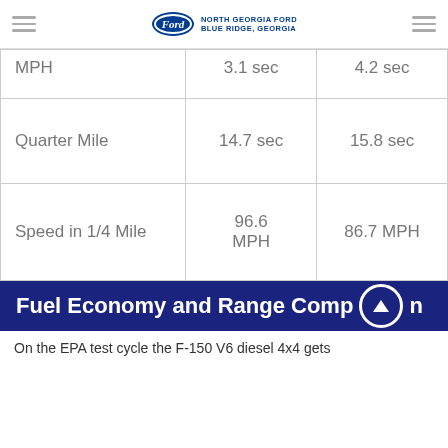North Georgia Ford Blue Ridge, Georgia
|  | Col1 | Col2 |
| --- | --- | --- |
| MPH | 3.1 sec | 4.2 sec |
| Quarter Mile | 14.7 sec | 15.8 sec |
| Speed in 1/4 Mile | 96.6 MPH | 86.7 MPH |
Fuel Economy and Range Comparison
On the EPA test cycle the F-150 V6 diesel 4x4 gets